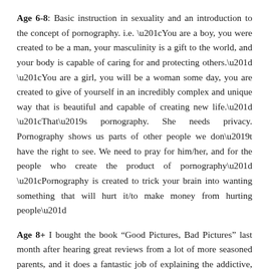Age 6-8: Basic instruction in sexuality and an introduction to the concept of pornography. i.e. “You are a boy, you were created to be a man, your masculinity is a gift to the world, and your body is capable of caring for and protecting others.” “You are a girl, you will be a woman some day, you are created to give of yourself in an incredibly complex and unique way that is beautiful and capable of creating new life.” “That’s pornography. She needs privacy. Pornography shows us parts of other people we don’t have the right to see. We need to pray for him/her, and for the people who create the product of pornography” “Pornography is created to trick your brain into wanting something that will hurt it/to make money from hurting people”
Age 8+ I bought the book “Good Pictures, Bad Pictures” last month after hearing great reviews from a lot of more seasoned parents, and it does a fantastic job of explaining the addictive, and scientific properties of porn addiction